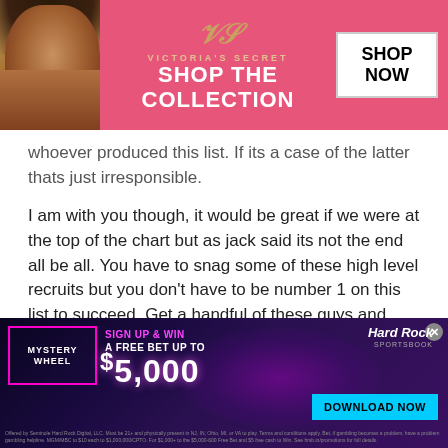[Figure (photo): Victoria's Secret advertisement banner with model, VS logo, 'SHOP THE COLLECTION' text, and 'SHOP NOW' button on pink background]
whoever produced this list. If its a case of the latter thats just irresponsible.
I am with you though, it would be great if we were at the top of the chart but as jack said its not the end all be all. You have to snag some of these high level recruits but you don't have to be number 1 on this list to succeed. Get a handful of these guys and some rkg's and we will be in business!
Again i am with you GO IRISH!!!
[Figure (screenshot): Hard Rock Sportsbook advertisement with Mystery Wheel promotion — 'SIGN UP & WIN A FREE BET UP TO $5,000' with DOWNLOAD NOW button on dark purple/blue background]